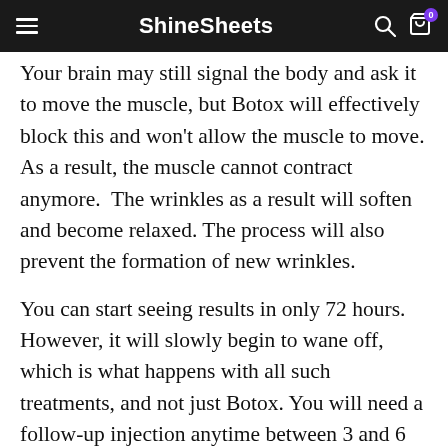ShineSheets
Your brain may still signal the body and ask it to move the muscle, but Botox will effectively block this and won't allow the muscle to move. As a result, the muscle cannot contract anymore. The wrinkles as a result will soften and become relaxed. The process will also prevent the formation of new wrinkles.
You can start seeing results in only 72 hours. However, it will slowly begin to wane off, which is what happens with all such treatments, and not just Botox. You will need a follow-up injection anytime between 3 and 6 months, which is longer than most other treatments.